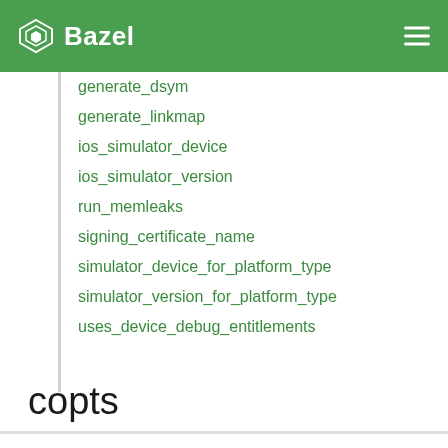Bazel
generate_dsym
generate_linkmap
ios_simulator_device
ios_simulator_version
run_memleaks
signing_certificate_name
simulator_device_for_platform_type
simulator_version_for_platform_type
uses_device_debug_entitlements
copts